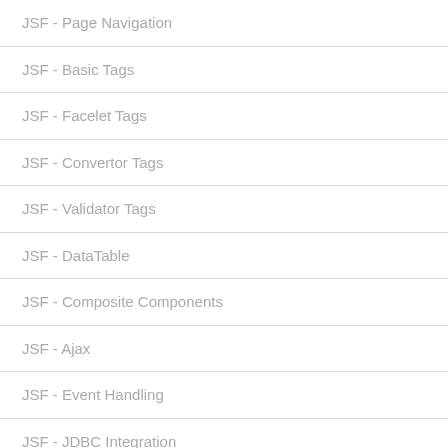JSF - Page Navigation
JSF - Basic Tags
JSF - Facelet Tags
JSF - Convertor Tags
JSF - Validator Tags
JSF - DataTable
JSF - Composite Components
JSF - Ajax
JSF - Event Handling
JSF - JDBC Integration
JSF - Spring Integration